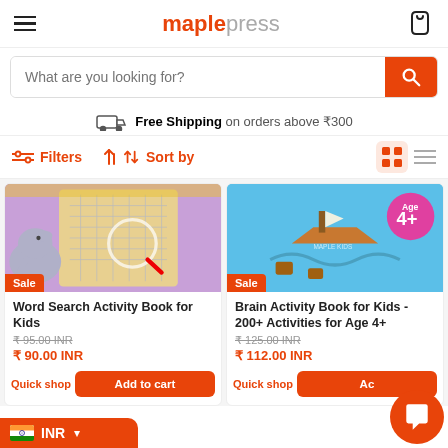maplepress
What are you looking for?
Free Shipping on orders above ₹300
Filters   Sort by
[Figure (photo): Word Search Activity Book for Kids product image with elephant illustration, Sale badge]
Word Search Activity Book for Kids
₹ 95.00 INR
₹ 90.00 INR
[Figure (photo): Brain Activity Book for Kids product image with pirate ship illustration, Age 4+ badge, Sale badge]
Brain Activity Book for Kids - 200+ Activities for Age 4+
₹ 125.00 INR
₹ 112.00 INR